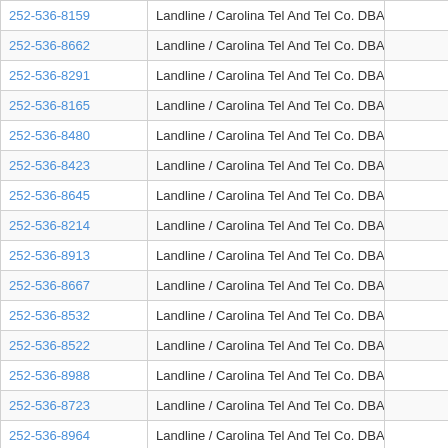| Phone | Carrier | Number |
| --- | --- | --- |
| 252-536-8159 | Landline / Carolina Tel And Tel Co. DBA Centurylink | 2525... |
| 252-536-8662 | Landline / Carolina Tel And Tel Co. DBA Centurylink | 2525... |
| 252-536-8291 | Landline / Carolina Tel And Tel Co. DBA Centurylink | 2525... |
| 252-536-8165 | Landline / Carolina Tel And Tel Co. DBA Centurylink | 2525... |
| 252-536-8480 | Landline / Carolina Tel And Tel Co. DBA Centurylink | 2525... |
| 252-536-8423 | Landline / Carolina Tel And Tel Co. DBA Centurylink | 2525... |
| 252-536-8645 | Landline / Carolina Tel And Tel Co. DBA Centurylink | 2525... |
| 252-536-8214 | Landline / Carolina Tel And Tel Co. DBA Centurylink | 2525... |
| 252-536-8913 | Landline / Carolina Tel And Tel Co. DBA Centurylink | 2525... |
| 252-536-8667 | Landline / Carolina Tel And Tel Co. DBA Centurylink | 2525... |
| 252-536-8532 | Landline / Carolina Tel And Tel Co. DBA Centurylink | 2525... |
| 252-536-8522 | Landline / Carolina Tel And Tel Co. DBA Centurylink | 2525... |
| 252-536-8988 | Landline / Carolina Tel And Tel Co. DBA Centurylink | 2525... |
| 252-536-8723 | Landline / Carolina Tel And Tel Co. DBA Centurylink | 2525... |
| 252-536-8964 | Landline / Carolina Tel And Tel Co. DBA Centurylink | 25... |
| 252-536-8180 | Landline / Carolina Tel And Tel Co. DBA Centurylink | ...25... |
| 252-536-8973 | Landline / Carolina Tel And Tel Co. DBA Centurylink | 2525... |
| 252-536-8425 | Landline / Carolina Tel And Tel Co. DBA Centurylink | 2525... |